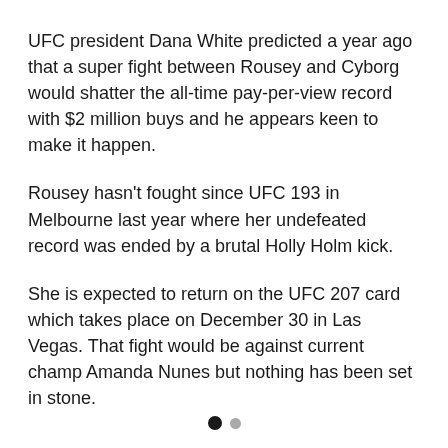UFC president Dana White predicted a year ago that a super fight between Rousey and Cyborg would shatter the all-time pay-per-view record with $2 million buys and he appears keen to make it happen.
Rousey hasn't fought since UFC 193 in Melbourne last year where her undefeated record was ended by a brutal Holly Holm kick.
She is expected to return on the UFC 207 card which takes place on December 30 in Las Vegas. That fight would be against current champ Amanda Nunes but nothing has been set in stone.
• ·